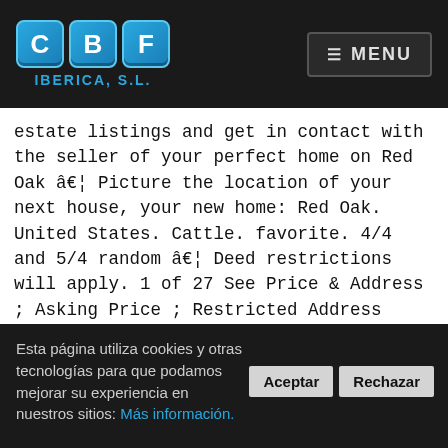[Figure (logo): CBF Iberica S.L. logo with three blue square tiles labeled C, B, F and text IBERICA, S.L. below]
☰ MENU
estate listings and get in contact with the seller of your perfect home on Red Oak â¦ Picture the location of your next house, your new home: Red Oak. United States. Cattle. favorite. 4/4 and 5/4 random â¦ Deed restrictions will apply. 1 of 27 See Price & Address ; Asking Price ; Restricted Address Methodist; Red Oak, TX 75154; 6 bed 2.0 bath 6,884 sqft; Single Family Home Owner Financing; Details â¦ post; account; favorites. favorite. CL appleton > general for sale - by owner... prev next reply favorite. 1 home
Esta página utiliza cookies y otras tecnologías para que podamos mejorar su experiencia en nuestros sitios: Más información.